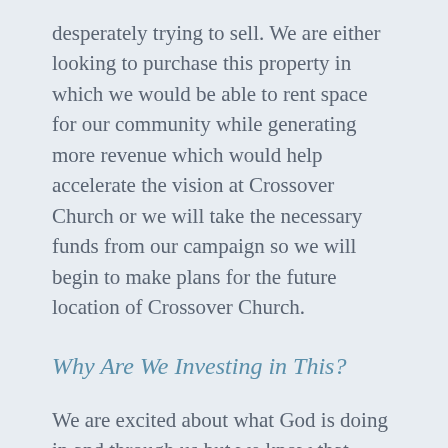desperately trying to sell. We are either looking to purchase this property in which we would be able to rent space for our community while generating more revenue which would help accelerate the vision at Crossover Church or we will take the necessary funds from our campaign so we will begin to make plans for the future location of Crossover Church.
Why Are We Investing in This?
We are excited about what God is doing in and through us but we know that there is more for us to experience and accomplish.